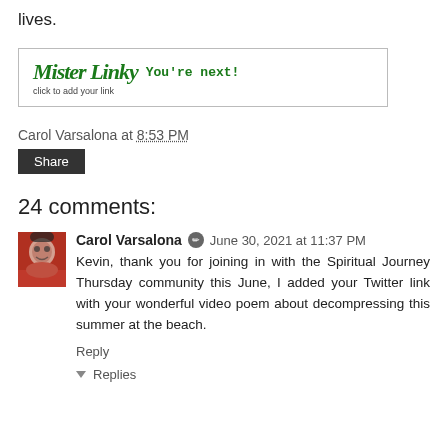lives.
[Figure (other): Mister Linky widget box with italic green logo text 'Mister Linky', subtext 'click to add your link', and green bold text 'You're next!']
Carol Varsalona at 8:53 PM
Share
24 comments:
Carol Varsalona  June 30, 2021 at 11:37 PM
Kevin, thank you for joining in with the Spiritual Journey Thursday community this June, I added your Twitter link with your wonderful video poem about decompressing this summer at the beach.
Reply
Replies